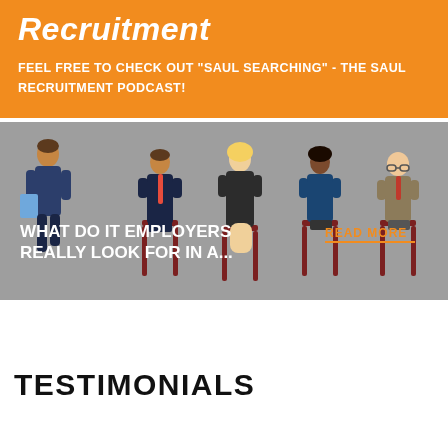Recruitment
FEEL FREE TO CHECK OUT "SAUL SEARCHING" - THE SAUL RECRUITMENT PODCAST!
[Figure (illustration): People sitting in chairs waiting for a job interview — cartoon illustration of five diverse candidates seated in a waiting room. Text overlay reads: WHAT DO IT EMPLOYERS REALLY LOOK FOR IN A... with a READ MORE link in orange.]
TESTIMONIALS